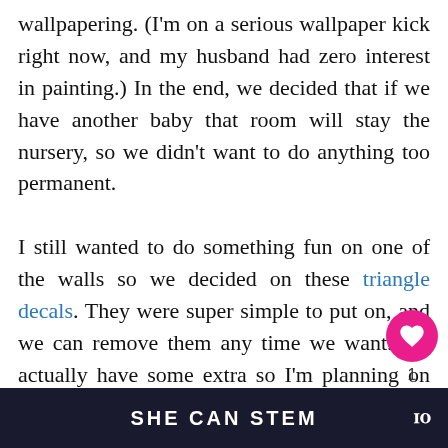wallpapering. (I'm on a serious wallpaper kick right now, and my husband had zero interest in painting.) In the end, we decided that if we have another baby that room will stay the nursery, so we didn't want to do anything too permanent.

I still wanted to do something fun on one of the walls so we decided on these triangle decals. They were super simple to put on, and we can remove them any time we want. We actually have some extra so I'm planning on putting them up in our laundry r...
[Figure (screenshot): UI overlay with heart/like button (pink circle), count of 1, and share button]
[Figure (screenshot): What's Next widget showing thumbnail and text: Penelope's nursery...]
[Figure (screenshot): Ad bar at bottom showing SHE CAN STEM text on dark background with logo]